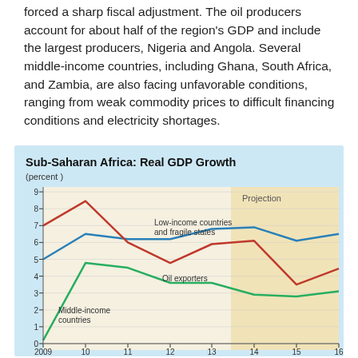forced a sharp fiscal adjustment. The oil producers account for about half of the region's GDP and include the largest producers, Nigeria and Angola. Several middle-income countries, including Ghana, South Africa, and Zambia, are also facing unfavorable conditions, ranging from weak commodity prices to difficult financing conditions and electricity shortages.
[Figure (line-chart): Sub-Saharan Africa: Real GDP Growth]